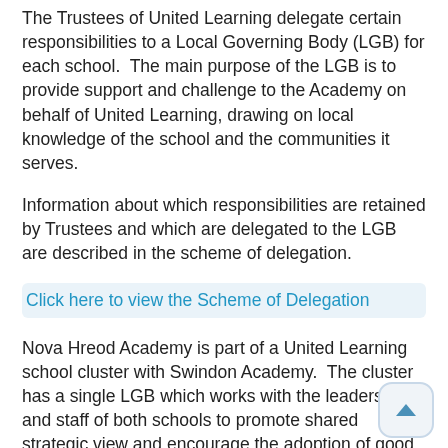The Trustees of United Learning delegate certain responsibilities to a Local Governing Body (LGB) for each school. The main purpose of the LGB is to provide support and challenge to the Academy on behalf of United Learning, drawing on local knowledge of the school and the communities it serves.
Information about which responsibilities are retained by Trustees and which are delegated to the LGB are described in the scheme of delegation.
Click here to view the Scheme of Delegation
Nova Hreod Academy is part of a United Learning school cluster with Swindon Academy. The cluster has a single LGB which works with the leadership and staff of both schools to promote shared strategic view and encourage the adoption of good practice and common approaches where it makes sense to do so. Each school retains its separate